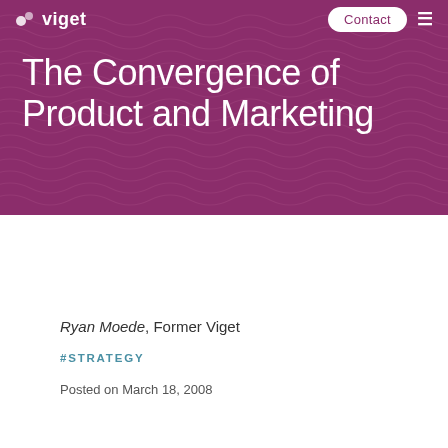viget   Contact
The Convergence of Product and Marketing
Ryan Moede, Former Viget
#STRATEGY
Posted on March 18, 2008